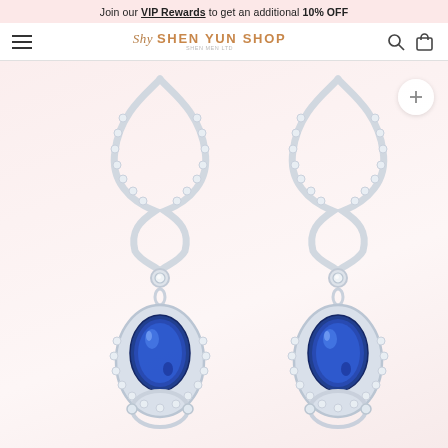Join our VIP Rewards to get an additional 10% OFF
[Figure (logo): Shen Yun Shop navigation bar with hamburger menu, logo, search and cart icons]
[Figure (photo): Two silver drop earrings with blue sapphire teardrop gemstones surrounded by crystal/diamond accents, on a light pink background]